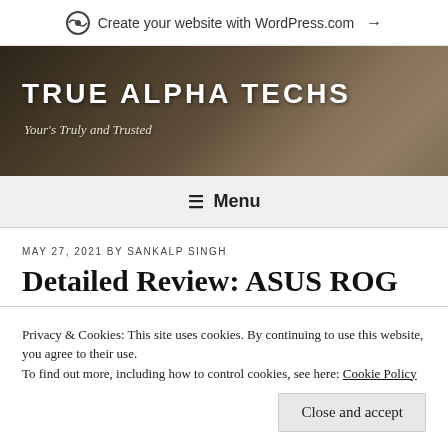Create your website with WordPress.com →
TRUE ALPHA TECHS
Your's Truly and Trusted
≡ Menu
MAY 27, 2021 BY SANKALP SINGH
Detailed Review: ASUS ROG Zephurus GX501 Ultra Slim Gaming
Privacy & Cookies: This site uses cookies. By continuing to use this website, you agree to their use.
To find out more, including how to control cookies, see here: Cookie Policy
Close and accept